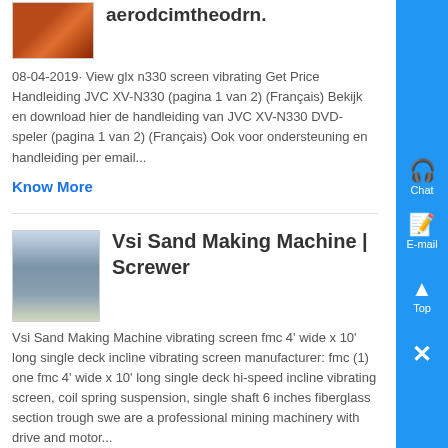[Figure (photo): Small thumbnail image of industrial/mining equipment with orange/red tones]
aerodcimtheodrn.
08-04-2019· View glx n330 screen vibrating Get Price Handleiding JVC XV-N330 (pagina 1 van 2) (Français) Bekijk en download hier de handleiding van JVC XV-N330 DVD-speler (pagina 1 van 2) (Français) Ook voor ondersteuning en handleiding per email...
Know More
[Figure (photo): Thumbnail image of Vsi Sand Making Machine industrial equipment, tall structure against sky]
Vsi Sand Making Machine | Screwer
Vsi Sand Making Machine vibrating screen fmc 4' wide x 10' long single deck incline vibrating screen manufacturer: fmc (1) one fmc 4' wide x 10' long single deck hi-speed incline vibrating screen, coil spring suspension, single shaft 6 inches fiberglass section trough swe are a professional mining machinery with drive and motor...
[Figure (other): Sidebar with blue background showing Chat icon, E-mail icon, Top arrow, and close X button]